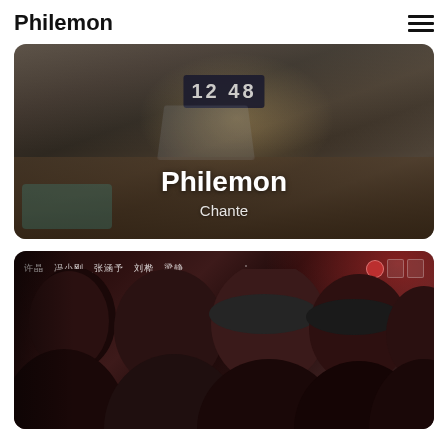Philemon
[Figure (photo): Dark moody desk scene with a typewriter, books, a digital clock showing 12:48, and a laptop on a wooden desk with white brick wall background. Overlaid text reads 'Philemon' and 'Chante']
[Figure (photo): Movie poster showing profiles of several people facing left in dark/red moody lighting, with Chinese character names at top: 许晶 冯小刚 张涵予 刘桦 梁静, with festival badges on the right]